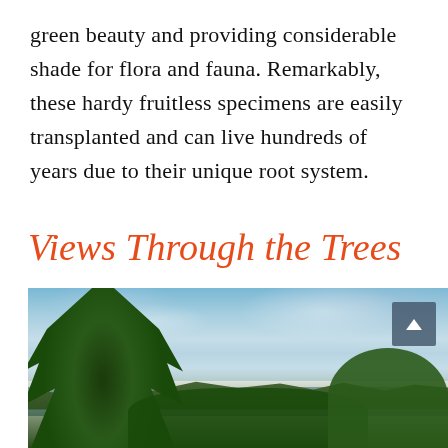green beauty and providing considerable shade for flora and fauna. Remarkably, these hardy fruitless specimens are easily transplanted and can live hundreds of years due to their unique root system.
Views Through the Trees
[Figure (photo): Landscape photograph showing tall dark conifer trees in the foreground on the left, with a panoramic view of a bay or harbor with water visible in the middle distance, rolling green hills beyond, and a dramatic blue sky with scattered clouds above. Green foliage fills the bottom edges of the frame. A scroll-up button is visible in the upper right corner of the image.]